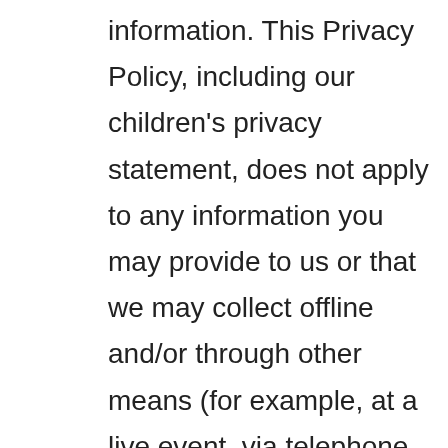information. This Privacy Policy, including our children's privacy statement, does not apply to any information you may provide to us or that we may collect offline and/or through other means (for example, at a live event, via telephone, or through the mail). Please read this Privacy Policy carefully. By visiting and using the